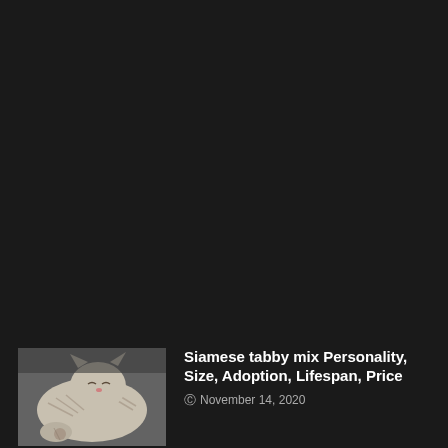[Figure (photo): Black background upper section of a dark-themed website]
[Figure (photo): Thumbnail photo of a Siamese tabby mix cat curled up sleeping]
Siamese tabby mix Personality, Size, Adoption, Lifespan, Price
November 14, 2020
[Figure (photo): Thumbnail photo of a Goldendoodle dog]
F1bb Goldendoodle Temperament, Size,